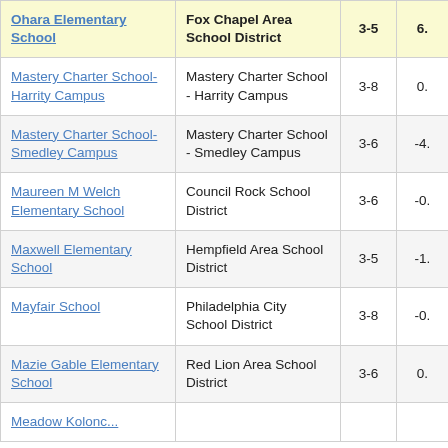| School | District | Grades | Score (partial) |
| --- | --- | --- | --- |
| Ohara Elementary School | Fox Chapel Area School District | 3-5 | 6. |
| Mastery Charter School-Harrity Campus | Mastery Charter School - Harrity Campus | 3-8 | 0. |
| Mastery Charter School-Smedley Campus | Mastery Charter School - Smedley Campus | 3-6 | -4. |
| Maureen M Welch Elementary School | Council Rock School District | 3-6 | -0. |
| Maxwell Elementary School | Hempfield Area School District | 3-5 | -1. |
| Mayfair School | Philadelphia City School District | 3-8 | -0. |
| Mazie Gable Elementary School | Red Lion Area School District | 3-6 | 0. |
| Meadow Kolonc... |  |  |  |